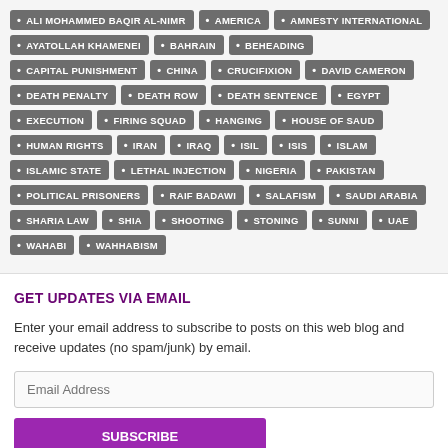ALI MOHAMMED BAQIR AL-NIMR, AMERICA, AMNESTY INTERNATIONAL, AYATOLLAH KHAMENEI, BAHRAIN, BEHEADING, CAPITAL PUNISHMENT, CHINA, CRUCIFIXION, DAVID CAMERON, DEATH PENALTY, DEATH ROW, DEATH SENTENCE, EGYPT, EXECUTION, FIRING SQUAD, HANGING, HOUSE OF SAUD, HUMAN RIGHTS, IRAN, IRAQ, ISIL, ISIS, ISLAM, ISLAMIC STATE, LETHAL INJECTION, NIGERIA, PAKISTAN, POLITICAL PRISONERS, RAIF BADAWI, SALAFISM, SAUDI ARABIA, SHARIA LAW, SHIA, SHOOTING, STONING, SUNNI, UAE, WAHABI, WAHHABISM
GET UPDATES VIA EMAIL
Enter your email address to subscribe to posts on this web blog and receive updates (no spam/junk) by email.